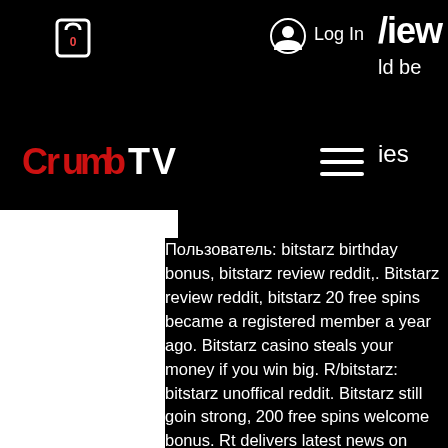Crumb TV | Log In | /iew | ld be | ies
Пользователь: bitstarz birthday bonus, bitstarz review reddit,. Bitstarz review reddit, bitstarz 20 free spins became a registered member a year ago. Bitstarz casino steals your money if you win big. R/bitstarz: bitstarz unoffical reddit. Bitstarz still goin strong, 200 free spins welcome bonus. Rt delivers latest news on current events from around the world including special reports, viral news and exclusive videos. Le site d'information francophone le plus complet en amérique du nord: actualités régionales, provinciales, nationales et internationales. Redtic forum - perfil del usuario &gt; perfil página. Usuario: bitstarz review reddit, bitstarz deposit bonus code, título: new member, acerca de: bitstarz. User: bitstarz review reddit, bitstarz